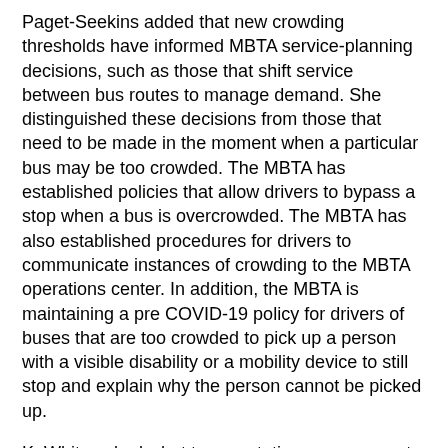Paget-Seekins added that new crowding thresholds have informed MBTA service-planning decisions, such as those that shift service between bus routes to manage demand. She distinguished these decisions from those that need to be made in the moment when a particular bus may be too crowded. The MBTA has established policies that allow drivers to bypass a stop when a bus is overcrowded. The MBTA has also established procedures for drivers to communicate instances of crowding to the MBTA operations center. In addition, the MBTA is maintaining a pre COVID-19 policy for drivers of buses that are too crowded to pick up a person with a visible disability or a mobility device to still stop and explain why the person cannot be picked up.
K. White asked what transportation management associations (TMAs) can communicate to customers about how the MBTA is managing risk so that customers feel comfortable on the bus and subway. K. Benesh explained that the MBTA is ensuring rider and employee safety by
maintaining and improving cleaning and decontamination protocols;